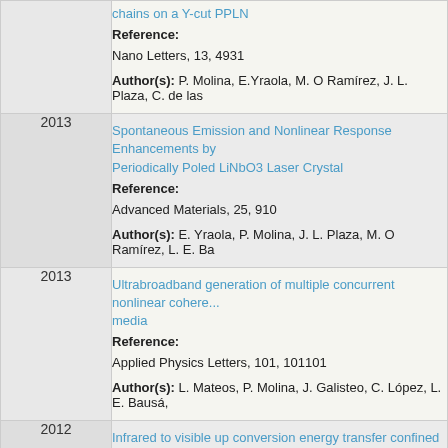| Year | Publication |
| --- | --- |
|  | chains on a Y-cut PPLN
Reference:
Nano Letters, 13, 4931
Author(s): P. Molina, E.Yraola, M. O Ramírez, J. L. Plaza, C. de las |
| 2013 | Spontaneous Emission and Nonlinear Response Enhancements by Periodically Poled LiNbO3 Laser Crystal
Reference:
Advanced Materials, 25, 910
Author(s): E. Yraola, P. Molina, J. L. Plaza, M. O Ramírez, L. E. Ba |
| 2013 | Ultrabroadband generation of multiple concurrent nonlinear cohere... media
Reference:
Applied Physics Letters, 101, 101101
Author(s): L. Mateos, P. Molina, J. Galisteo, C. López, L. E. Bausá, |
| 2012 | Infrared to visible up conversion energy transfer confined at ordered...
Reference:
Optical Materials, 34, 2035-2040
Author(s): L. Mateos, J.V. Garcia-Santizo, P. Molina, P.J. Derén, M. |
| 2012 | Local environment of optically active Nd3+ ions in the ultratranspare...
Reference:
Physical Review B, 85, 184110 |